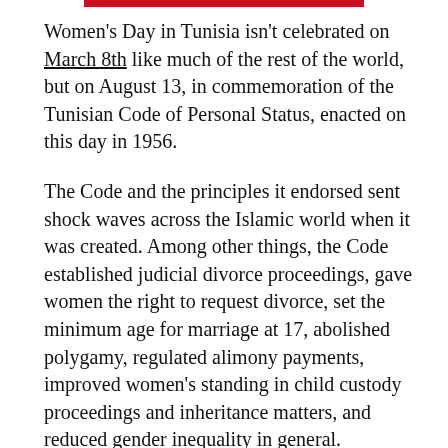Women's Day in Tunisia isn't celebrated on March 8th like much of the rest of the world, but on August 13, in commemoration of the Tunisian Code of Personal Status, enacted on this day in 1956.
The Code and the principles it endorsed sent shock waves across the Islamic world when it was created. Among other things, the Code established judicial divorce proceedings, gave women the right to request divorce, set the minimum age for marriage at 17, abolished polygamy, regulated alimony payments, improved women's standing in child custody proceedings and inheritance matters, and reduced gender inequality in general.
The Code of Personal Status was one of the first major legislative actions of the new government. Tunisia had